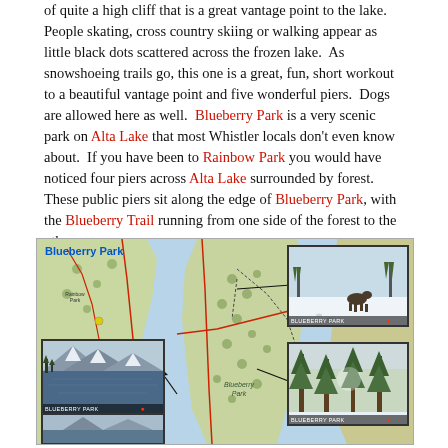of quite a high cliff that is a great vantage point to the lake. People skating, cross country skiing or walking appear as little black dots scattered across the frozen lake.  As snowshoeing trails go, this one is a great, fun, short workout to a beautiful vantage point and five wonderful piers.  Dogs are allowed here as well.  Blueberry Park is a very scenic park on Alta Lake that most Whistler locals don't even know about.  If you have been to Rainbow Park you would have noticed four piers across Alta Lake surrounded by forest.  These public piers sit along the edge of Blueberry Park, with the Blueberry Trail running from one side of the forest to the other.
[Figure (map): Topographic map of Blueberry Park area on Alta Lake, Whistler. Shows lake, forest, trails, and Blueberry Park label. Includes three inset photos: winter animal scene, lake/mountain view, and forest/tree scene. Map labeled 'Blueberry Park' in top-left corner.]